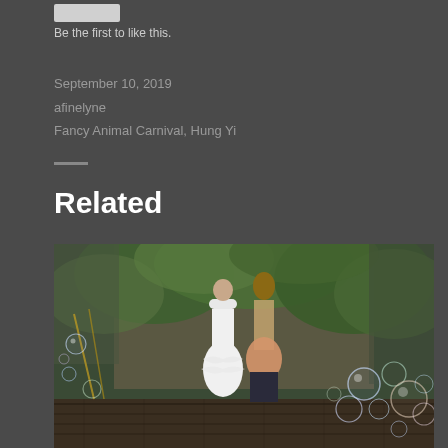Be the first to like this.
September 10, 2019
afinelyne
Fancy Animal Carnival, Hung Yi
Related
[Figure (photo): Two figures standing in front of an ivy-covered brick wall on a wooden deck. A woman in a white ruffled dress stands next to a figure wearing a horse mask and no shirt, with a pregnant belly visible. Large colorful soap bubbles float around them.]